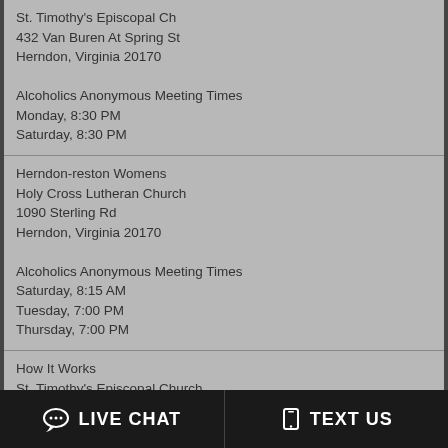St. Timothy's Episcopal Ch
432 Van Buren At Spring St
Herndon, Virginia 20170

Alcoholics Anonymous Meeting Times
Monday, 8:30 PM
Saturday, 8:30 PM
Herndon-reston Womens
Holy Cross Lutheran Church
1090 Sterling Rd
Herndon, Virginia 20170

Alcoholics Anonymous Meeting Times
Saturday, 8:15 AM
Tuesday, 7:00 PM
Thursday, 7:00 PM
How It Works
St. Timothy's Episcopal Church
432 Van Buren @ Spring St
Herndon, Virginia 20170

Alcoholics Anonymous Meeting Times
Tuesday, 10:00 AM
Keep Coming Back
Trinity Presbyterian Church
651 Dranesville Rd
Herndon, Virginia 20170
LIVE CHAT   TEXT US